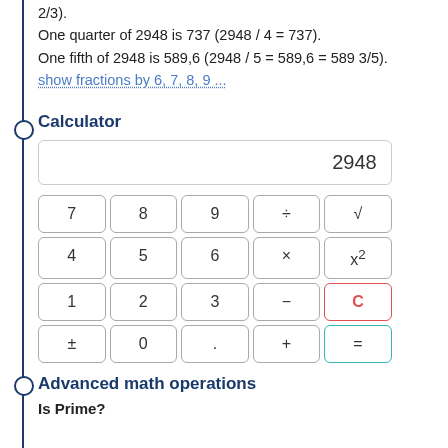One third of 2948 is 982,6667 (2948 / 3 = 982,6667 = 982 2/3). One quarter of 2948 is 737 (2948 / 4 = 737). One fifth of 2948 is 589,6 (2948 / 5 = 589,6 = 589 3/5).
show fractions by 6, 7, 8, 9 ...
Calculator
[Figure (other): Calculator widget showing display with 2948 and a 4x5 grid of buttons: 7,8,9,÷,√,4,5,6,×,x²,1,2,3,−,C,±,0,.,+,=]
Advanced math operations
Is Prime?